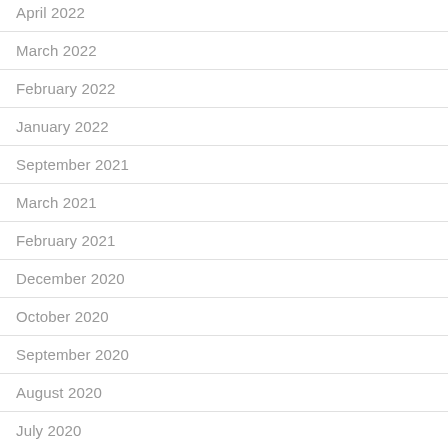April 2022
March 2022
February 2022
January 2022
September 2021
March 2021
February 2021
December 2020
October 2020
September 2020
August 2020
July 2020